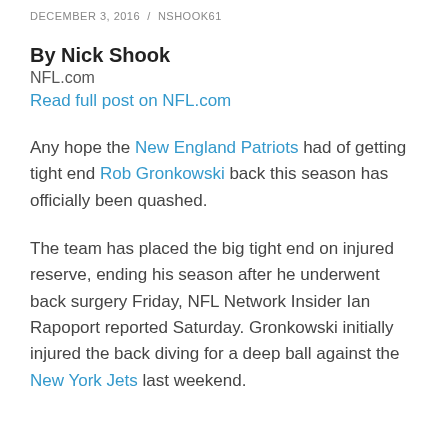DECEMBER 3, 2016  /  NSHOOK61
By Nick Shook
NFL.com
Read full post on NFL.com
Any hope the New England Patriots had of getting tight end Rob Gronkowski back this season has officially been quashed.
The team has placed the big tight end on injured reserve, ending his season after he underwent back surgery Friday, NFL Network Insider Ian Rapoport reported Saturday. Gronkowski initially injured the back diving for a deep ball against the New York Jets last weekend.